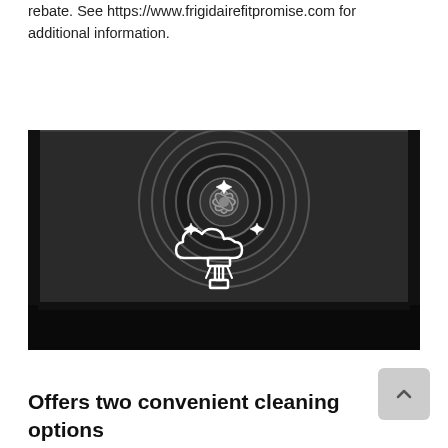rebate. See https://www.frigidairefitpromise.com for additional information.
[Figure (photo): Black and white close-up photo of oven interior with convection fan visible and a white outline icon of a steam/cloud cleaning symbol in the foreground.]
Offers two convenient cleaning options